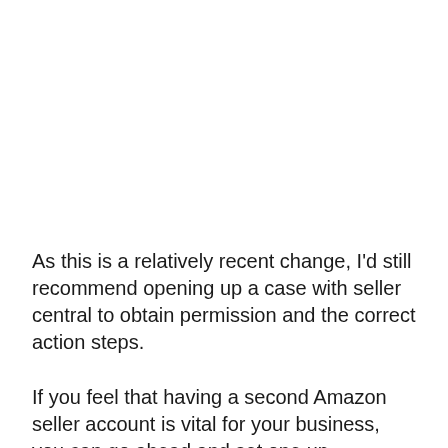As this is a relatively recent change, I'd still recommend opening up a case with seller central to obtain permission and the correct action steps.
If you feel that having a second Amazon seller account is vital for your business, you can go ahead and set one up.
However, be warned Amazon could ask